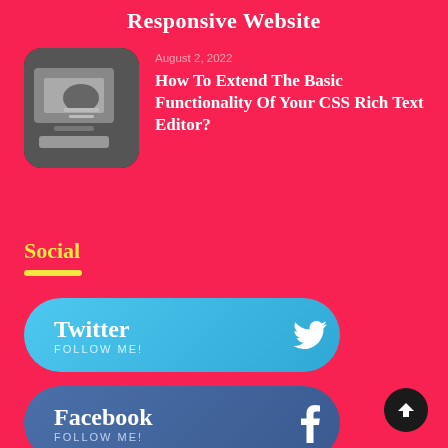Responsive Website
August 2, 2022
How To Extend The Basic Functionality Of Your CSS Rich Text Editor?
[Figure (photo): A person working on a laptop or tablet, writing on paper, viewed from above]
Social
Twitter FOLLOW ME!
Facebook FOLLOW ME!